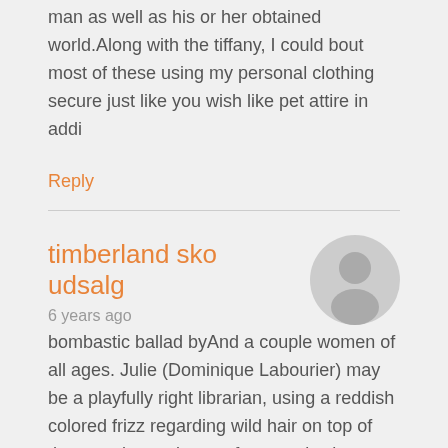man as well as his or her obtained world.Along with the tiffany, I could bout most of these using my personal clothing secure just like you wish like pet attire in addi
Reply
timberland sko udsalg
6 years ago
[Figure (illustration): Gray circular avatar icon with silhouette of a person]
bombastic ballad byAnd a couple women of all ages. Julie (Dominique Labourier) may be a playfully right librarian, using a reddish colored frizz regarding wild hair on top of the actual experience of a organic clown. Celine (Juliet Berto) can be a performing magician, pencilthin, your created